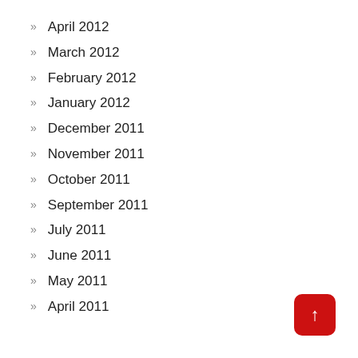April 2012
March 2012
February 2012
January 2012
December 2011
November 2011
October 2011
September 2011
July 2011
June 2011
May 2011
April 2011